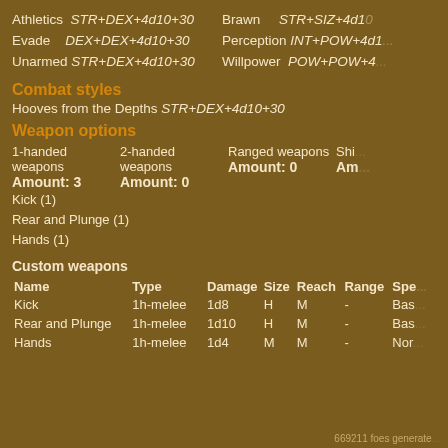Athletics STR+DEX+4d10+30   Brawn STR+SIZ+4d1...
Evade DEX+DEX+4d10+30   Perception INT+POW+4d1...
Unarmed STR+DEX+4d10+30   Willpower POW+POW+4...
Combat styles
Hooves from the Depths STR+DEX+4d10+30
Weapon options
| 1-handed weapons | 2-handed weapons | Ranged weapons | Shi... |
| --- | --- | --- | --- |
| Amount: 3 | Amount: 0 | Amount: 0 | Am... |
| Kick (1) |  |  |  |
| Rear and Plunge (1) |  |  |  |
| Hands (1) |  |  |  |
Custom weapons
| Name | Type | Damage | Size | Reach | Range | Spe... |
| --- | --- | --- | --- | --- | --- | --- |
| Kick | 1h-melee | 1d8 | H | M | - | Bas... |
| Rear and Plunge | 1h-melee | 1d10 | H | M | - | Bas... |
| Hands | 1h-melee | 1d4 | M | M | - | Nor... |
669211 foes generate...